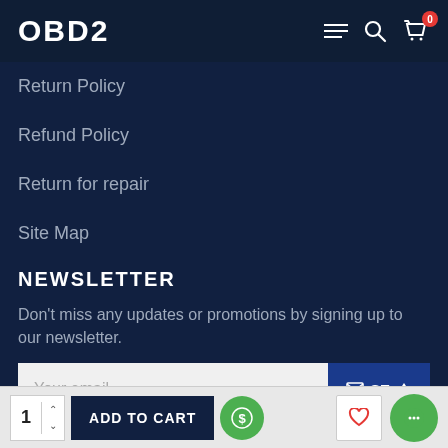OBD2
Return Policy
Refund Policy
Return for repair
Site Map
NEWSLETTER
Don't miss any updates or promotions by signing up to our newsletter.
Your email | SE ↑
I have read and agree to the Privacy Policy
1  ADD TO CART